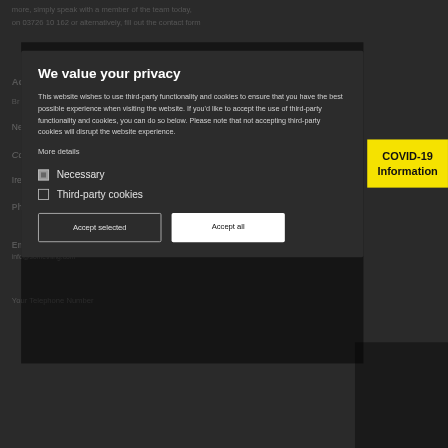more, simply speak with a member of the team today, on 03726 10 162 or alternatively, fill out the contact form
We value your privacy
This website wishes to use third-party functionality and cookies to ensure that you have the best possible experience when visiting the website. If you'd like to accept the use of third-party functionality and cookies, you can do so below. Please note that not accepting third-party cookies will disrupt the website experience.
[Figure (other): COVID-19 Information yellow badge/button]
More details
Necessary
Third-party cookies
Accept selected
Accept all